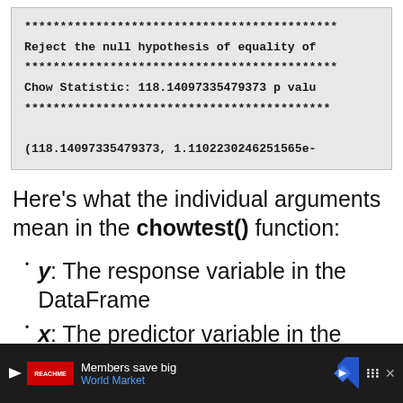[Figure (screenshot): Code output block showing Chow test results with asterisk separator lines, rejection message, Chow Statistic value, and tuple output]
Here's what the individual arguments mean in the chowtest() function:
y: The response variable in the DataFrame
x: The predictor variable in the